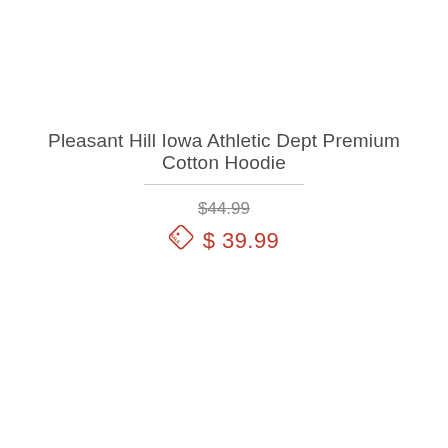Pleasant Hill Iowa Athletic Dept Premium Cotton Hoodie
$44.99
$ 39.99